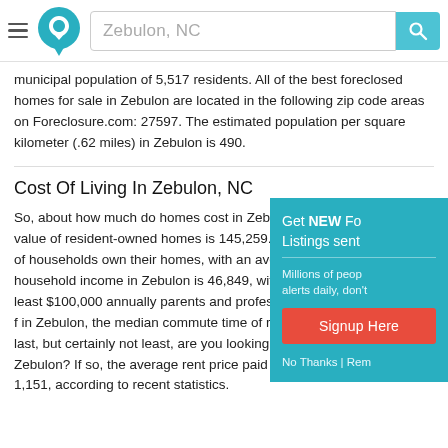Zebulon, NC
municipal population of 5,517 residents. All of the best foreclosed homes for sale in Zebulon are located in the following zip code areas on Foreclosure.com: 27597. The estimated population per square kilometer (.62 miles) in Zebulon is 490.
Cost Of Living In Zebulon, NC
So, about how much do homes cost in Zebulon? The recent median value of resident-owned homes is 145,259. An estimated 61.5 percent of households own their homes, with an average family size of household income in Zebulon is 46,849, with18 households earning at least $100,000 annually parents and professionals who are searching f in Zebulon, the median commute time of resid minutes) is 30.9. And last, but certainly not least, are you looking for homes to rent in Zebulon? If so, the average rent price paid by renters in Zebulon is 1,151, according to recent statistics.
Get NEW Fo Listings sent
Millions of people alerts daily, don't
Signup Here
No Thanks | Rem